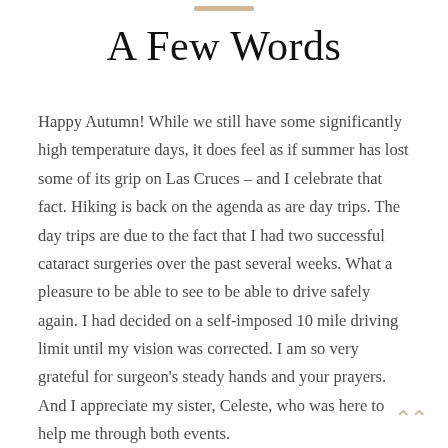A Few Words
Happy Autumn!  While we still have some significantly high temperature days, it does feel as if summer has lost some of its grip on Las Cruces – and I celebrate that fact.  Hiking is back on the agenda as are day trips.  The day trips are due to the fact that I had two successful cataract surgeries over the past several weeks.  What a pleasure to be able to see to be able to drive safely again.  I had decided on a self-imposed 10 mile driving limit until my vision was corrected.  I am so very grateful for surgeon's steady hands and your prayers.  And I appreciate my sister, Celeste, who was here to help me through both events.
There are many things going on at First Christian Church as reflected in this newsletter.  I would share the fact that